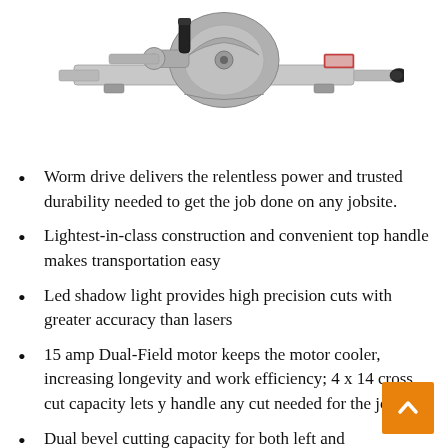[Figure (photo): A gray metallic worm drive circular saw / miter saw tool photographed from above on white background, showing the blade guard, handle, and sliding rail mechanism.]
Worm drive delivers the relentless power and trusted durability needed to get the job done on any jobsite.
Lightest-in-class construction and convenient top handle makes transportation easy
Led shadow light provides high precision cuts with greater accuracy than lasers
15 amp Dual-Field motor keeps the motor cooler, increasing longevity and work efficiency; 4 x 14 cross cut capacity lets y handle any cut needed for the job.
Dual bevel cutting capacity for both left and